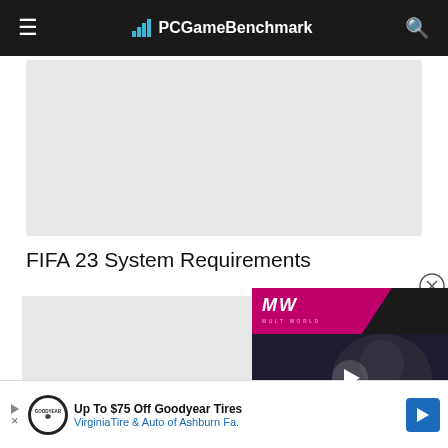PCGameBenchmark
[Figure (other): Grey advertisement placeholder banner at top of page]
FIFA 23 System Requirements
[Figure (other): Grey advertisement placeholder banner below title]
[Figure (other): Video overlay showing MW (Mult World) logo with pink/black banner, play button, and text 'EMBRACER GROUP BUY LOTR RIGHTS']
[Figure (other): Bottom advertisement bar: Up To $75 Off Goodyear Tires - VirginiaTire & Auto of Ashburn Fa.]